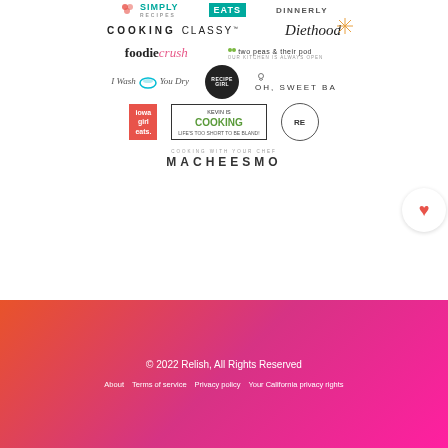[Figure (logo): Grid of food blog logos: Simply Recipes, Allrecipes Eats, Dinnerly, Cooking Classy, Diethood, Foodiecrush, Two Peas and Their Pod, I Wash You Dry, Recipe Girl, Oh Sweet Ba[silica], Iowa Girl Eats, Kevin Is Cooking, Reluctant Entertainer, Macheesmo]
© 2022 Relish, All Rights Reserved
About | Terms of service | Privacy policy | Your California privacy rights